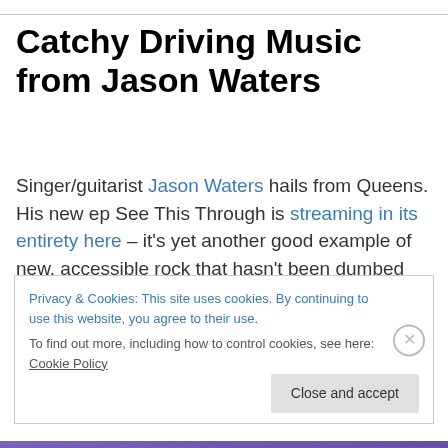Catchy Driving Music from Jason Waters
Singer/guitarist Jason Waters hails from Queens. His new ep See This Through is streaming in its entirety here – it's yet another good example of new, accessible rock that hasn't been dumbed down to appeal to corporate radio or the bankruptcy-bound major labels. A lot of this sounds like the BoDeans, especially the title track – a casually
Privacy & Cookies: This site uses cookies. By continuing to use this website, you agree to their use. To find out more, including how to control cookies, see here: Cookie Policy